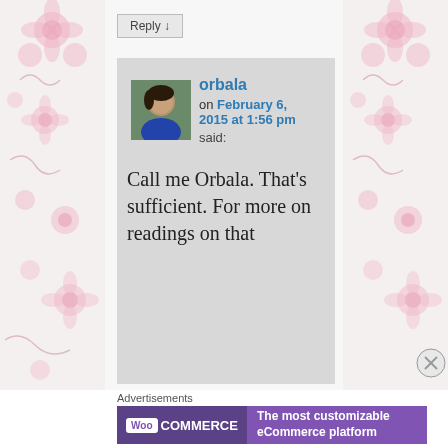Reply ↓
orbala on February 6, 2015 at 1:56 pm said:
Call me Orbala. That's sufficient. For more on readings on that
Advertisements
[Figure (screenshot): WooCommerce advertisement banner with purple background, WooCommerce logo on left and text 'The most customizable eCommerce platform' on right]